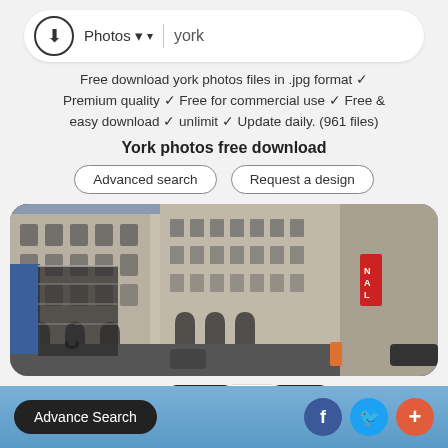[Figure (screenshot): Search bar with download icon, Photos dropdown, and 'york' search text]
Free download york photos files in .jpg format ✓ Premium quality ✓ Free for commercial use ✓ Free & easy download ✓ unlimit ✓ Update daily. (961 files)
York photos free download
[Figure (screenshot): Two buttons: Advanced search and Request a design]
[Figure (photo): Street-level photo of a large stone classical building at a city intersection, with stores visible on the right]
[Figure (screenshot): Pagination bar with Page: Stop 1 Go! controls]
[Figure (screenshot): Bottom bar with Advance Search button and social icons for Facebook, Twitter, and a plus button]